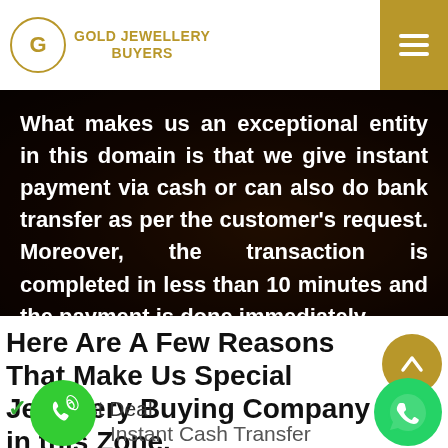Gold Jewellery Buyers
[Figure (photo): Dark banner background with gold-toned jewellery imagery]
What makes us an exceptional entity in this domain is that we give instant payment via cash or can also do bank transfer as per the customer's request. Moreover, the transaction is completed in less than 10 minutes and the payment is done immediately.
Here Are A Few Reasons That Make Us Special Jewellery Buying Company in this Zone.
Honest Deal
Instant Cash Transfer
Can Pay Where Ever You Want